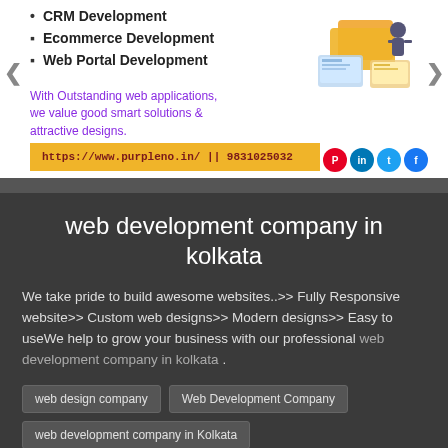CRM Development
Ecommerce Development
Web Portal Development
With Outstanding web applications, we value good smart solutions & attractive designs.
[Figure (illustration): Isometric illustration of a person working with web/app development elements including folders, screens, and code icons.]
https://www.purpleno.in/ || 9831025032
web development company in kolkata
We take pride to build awesome websites..>> Fully Responsive website>> Custom web designs>> Modern designs>> Easy to useWe help to grow your business with our professional web development company in kolkata .
web design company
Web Development Company
web development company in Kolkata